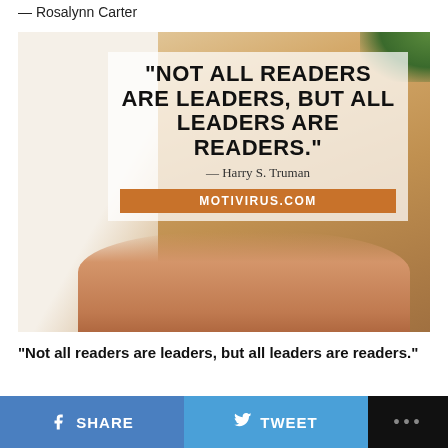— Rosalynn Carter
[Figure (photo): Photo of hands on a book on a wooden table with a motivational quote overlay: "Not all readers are leaders, but all leaders are readers." — Harry S. Truman, with MOTIVIRUS.COM branding bar]
“Not all readers are leaders, but all leaders are readers.”
SHARE   TWEET   ...